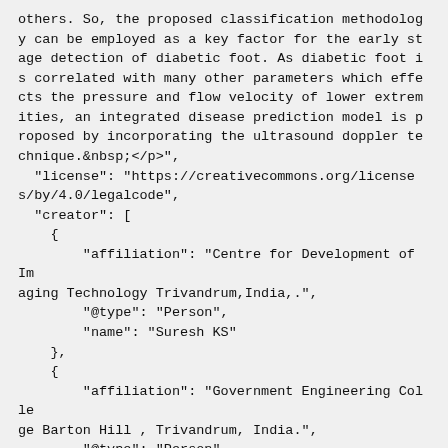others. So, the proposed classification methodology can be employed as a key factor for the early stage detection of diabetic foot. As diabetic foot is correlated with many other parameters which effects the pressure and flow velocity of lower extremities, an integrated disease prediction model is proposed by incorporating the ultrasound doppler technique.&nbsp;</p>",
  "license": "https://creativecommons.org/licenses/by/4.0/legalcode",
  "creator": [
    {
      "affiliation": "Centre for Development of Imaging Technology Trivandrum,India,.",
      "@type": "Person",
      "name": "Suresh KS"
    },
    {
      "affiliation": "Government Engineering College Barton Hill , Trivandrum, India.",
      "@type": "Person",
      "name": "Prof. (Dr.) Vijayakumar.N"
    },
    {